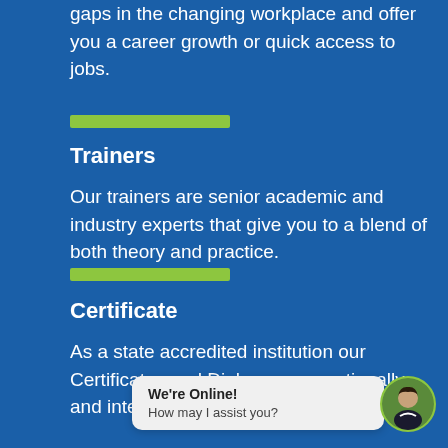gaps in the changing workplace and offer you a career growth or quick access to jobs.
Trainers
Our trainers are senior academic and industry experts that give you to a blend of both theory and practice.
Certificate
As a state accredited institution our Certificates and Diplomas are nationally and internationally recognized.
[Figure (other): Live chat popup widget showing 'We're Online! How may I assist you?' with a circular avatar photo of a woman in business attire]